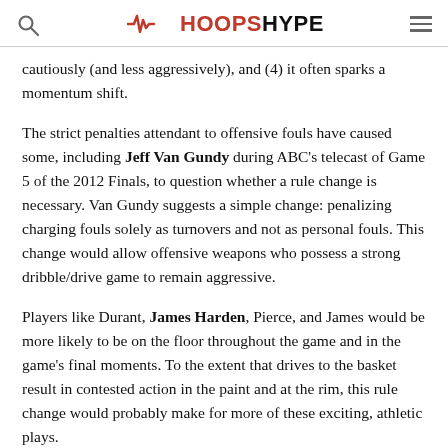HOOPSHYPE
cautiously (and less aggressively), and (4) it often sparks a momentum shift.
The strict penalties attendant to offensive fouls have caused some, including Jeff Van Gundy during ABC's telecast of Game 5 of the 2012 Finals, to question whether a rule change is necessary. Van Gundy suggests a simple change: penalizing charging fouls solely as turnovers and not as personal fouls. This change would allow offensive weapons who possess a strong dribble/drive game to remain aggressive.
Players like Durant, James Harden, Pierce, and James would be more likely to be on the floor throughout the game and in the game's final moments. To the extent that drives to the basket result in contested action in the paint and at the rim, this rule change would probably make for more of these exciting, athletic plays.